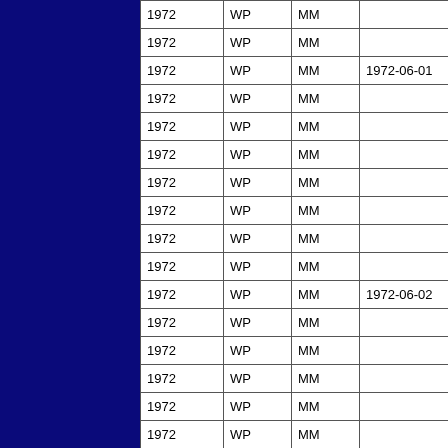| 1972 | WP | MM |  |
| 1972 | WP | MM |  |
| 1972 | WP | MM | 1972-06-01 |
| 1972 | WP | MM |  |
| 1972 | WP | MM |  |
| 1972 | WP | MM |  |
| 1972 | WP | MM |  |
| 1972 | WP | MM |  |
| 1972 | WP | MM |  |
| 1972 | WP | MM |  |
| 1972 | WP | MM | 1972-06-02 |
| 1972 | WP | MM |  |
| 1972 | WP | MM |  |
| 1972 | WP | MM |  |
| 1972 | WP | MM |  |
| 1972 | WP | MM |  |
| 1972 | WP | MM |  |
| 1972 | WP | MM |  |
| 1972 | WP | MM | 1972-06-03 |
| 1972 | WP | MM |  |